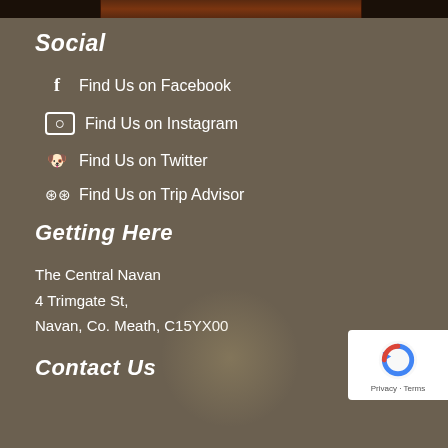[Figure (photo): Dark wood texture strip at top of page]
Social
Find Us on Facebook
Find Us on Instagram
Find Us on Twitter
Find Us on Trip Advisor
Getting Here
The Central Navan
4 Trimgate St,
Navan, Co. Meath, C15YX00
Contact Us
[Figure (logo): Google reCAPTCHA badge with Privacy and Terms links]